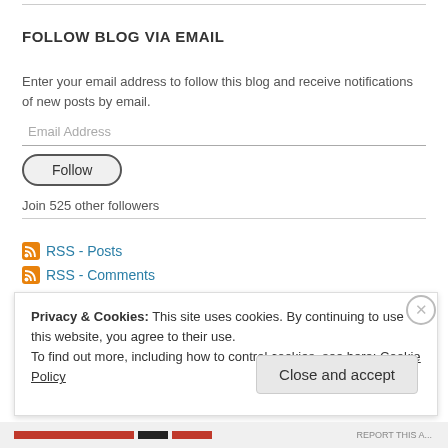FOLLOW BLOG VIA EMAIL
Enter your email address to follow this blog and receive notifications of new posts by email.
Email Address
Follow
Join 525 other followers
RSS - Posts
RSS - Comments
Privacy & Cookies: This site uses cookies. By continuing to use this website, you agree to their use.
To find out more, including how to control cookies, see here: Cookie Policy
Close and accept